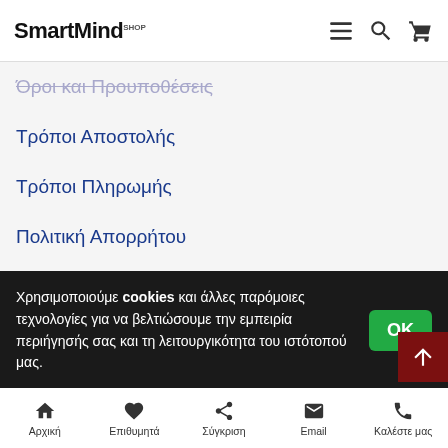SmartMind SHOP
Όροι και Προυποθέσεις
Τρόποι Αποστολής
Τρόποι Πληρωμής
Πολιτική Απορρήτου
Συχνές ερωτήσεις
ΕΞΥΠΗΡΕΤΗΣΗ ΠΕΛΑΤΩΝ
Επικοινωνία
Επιστροφές Προϊόντων
Χρησιμοποιούμε cookies και άλλες παρόμοιες τεχνολογίες για να βελτιώσουμε την εμπειρία περιήγησής σας και τη λειτουργικότητα του ιστότοπού μας.
Αρχική | Επιθυμητά | Σύγκριση | Email | Καλέστε μας